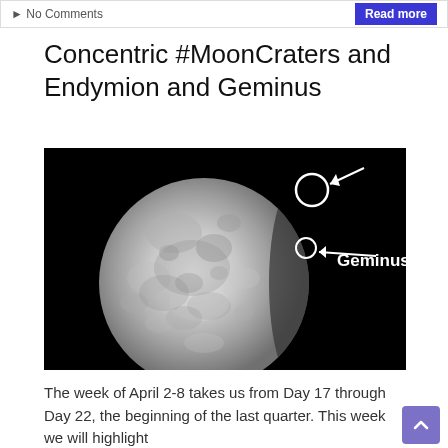No Comments | Read more
Concentric #MoonCraters and Endymion and Geminus
[Figure (photo): Grayscale photograph of the full moon against a black background. White circle annotations mark two craters. An arrow points to a smaller circle labeled 'Geminus' on the upper right portion of the moon. Another larger circle is visible near the top right edge.]
The week of April 2-8 takes us from Day 17 through Day 22, the beginning of the last quarter. This week we will highlight